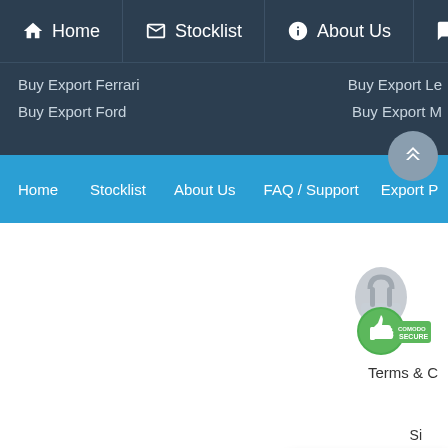Home | Stocklist | About Us | FAQ /
Buy Export Ferrari
Buy Export Ford
Buy Export Le
Buy Export M
Home | Stocklist | About Us | FAQ / Support | Export P
[Figure (logo): Comodo Secure badge with padlock and thumbs up icon, green and grey colors]
Terms & C
Si
Singapore Leading Used Cars Exporters,
[Figure (logo): WhatsApp Us button with green WhatsApp icon]